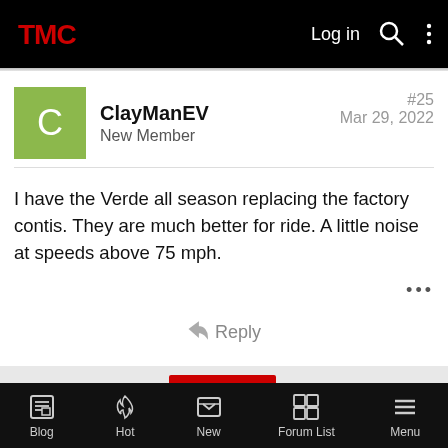TMC Log in
ClayManEV
New Member
#25
Mar 29, 2022
I have the Verde all season replacing the factory contis. They are much better for ride. A little noise at speeds above 75 mph.
Reply
◄◄  ◄ Prev  2 of 2
Blog  Hot  New  Forum List  Menu